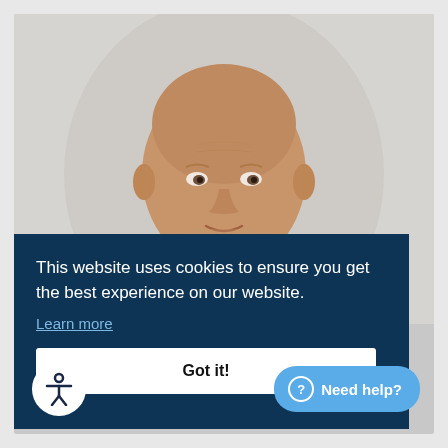[Figure (photo): Headshot of a bald middle-aged man against a light grey/white background, wearing a dark navy shirt. The photo is cropped at chest level.]
This website uses cookies to ensure you get the best experience on our website.
Learn more
Got it!
Need help?